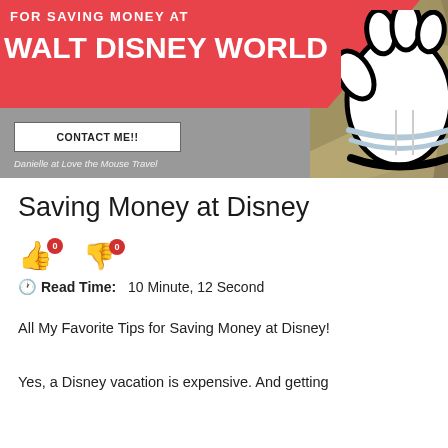[Figure (photo): Header banner for a blog about saving money at Walt Disney World. Pink/red diagonal banner on the left with bold white text reading 'FOR SAVING MONEY AT WALT DISNEY WORLD'. Background shows fanned US dollar bills. Mickey Mouse white glove visible on the right side. Gray section below with a white 'CONTACT ME!!' button. Text at bottom left: 'Danielle at Love the Mouse Travel'.]
Saving Money at Disney
Read Time:  10 Minute, 12 Second
All My Favorite Tips for Saving Money at Disney!
Yes, a Disney vacation is expensive. And getting